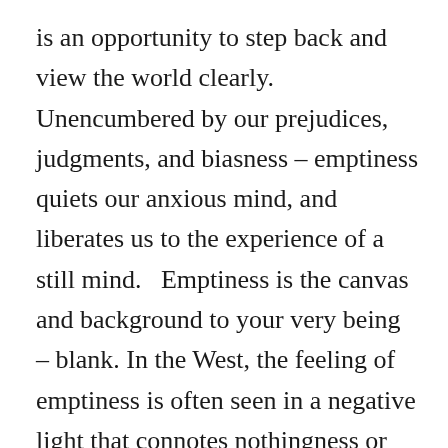is an opportunity to step back and view the world clearly.  Unencumbered by our prejudices, judgments, and biasness – emptiness quiets our anxious mind, and liberates us to the experience of a still mind.   Emptiness is the canvas and background to your very being – blank. In the West, the feeling of emptiness is often seen in a negative light that connotes nothingness or meaninglessness. When someone bemoans of feeling hollow inside, they are quickly encouraged to take up a hobby, go on vacation, or see a doctor for depression. This kind of emptiness is common in those who feel lost when